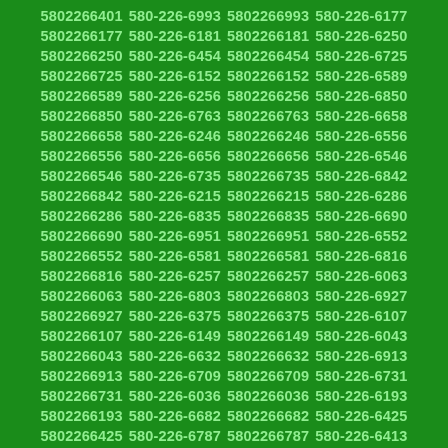5802266401 580-226-6993 5802266993 580-226-6177 5802266177 580-226-6181 5802266181 580-226-6250 5802266250 580-226-6454 5802266454 580-226-6725 5802266725 580-226-6152 5802266152 580-226-6589 5802266589 580-226-6256 5802266256 580-226-6850 5802266850 580-226-6763 5802266763 580-226-6658 5802266658 580-226-6246 5802266246 580-226-6556 5802266556 580-226-6656 5802266656 580-226-6546 5802266546 580-226-6735 5802266735 580-226-6842 5802266842 580-226-6215 5802266215 580-226-6286 5802266286 580-226-6835 5802266835 580-226-6690 5802266690 580-226-6951 5802266951 580-226-6552 5802266552 580-226-6581 5802266581 580-226-6816 5802266816 580-226-6257 5802266257 580-226-6063 5802266063 580-226-6803 5802266803 580-226-6927 5802266927 580-226-6375 5802266375 580-226-6107 5802266107 580-226-6149 5802266149 580-226-6043 5802266043 580-226-6632 5802266632 580-226-6913 5802266913 580-226-6709 5802266709 580-226-6731 5802266731 580-226-6036 5802266036 580-226-6193 5802266193 580-226-6682 5802266682 580-226-6425 5802266425 580-226-6787 5802266787 580-226-6413 5802266413 580-226-6582 5802266582 580-226-6907 5802266907 580-226-6421 5802266421 580-226-6981 5802266981 580-226-6614 5802266614 580-226-6491 5802266491 580-226-6033 5802266033 580-226-6294